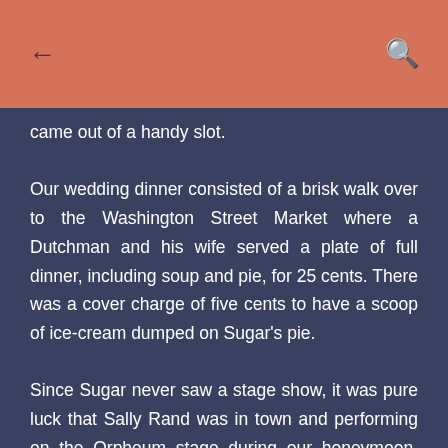← [back] [search]
came out of a handy slot.
Our wedding dinner consisted of a brisk walk over to the Washington Street Market where a Dutchman and his wife served a plate of full dinner, including soup and pie, for 25 cents. There was a cover charge of five cents to have a scoop of ice-cream dumped on Sugar's pie.
Since Sugar never saw a stage show, it was pure luck that Sally Rand was in town and performing on the Orpheum stage during our honeymoon. Sally's body and her bubble put on an artful show, for which she was